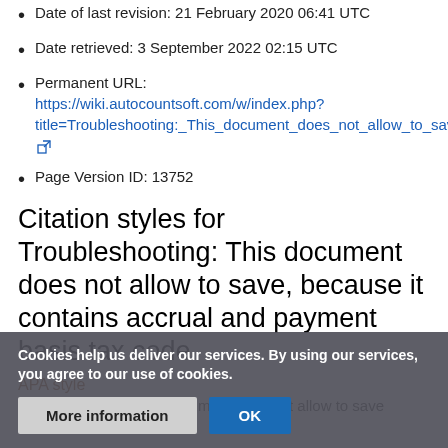Date of last revision: 21 February 2020 06:41 UTC
Date retrieved: 3 September 2022 02:15 UTC
Permanent URL: https://wiki.autocountsoft.com/w/index.php?title=Troubleshooting:_This_document_does_not_allow_to_save,_because_it_contains_accrual_and_payment_basis_tax_code&oldid=13752
Page Version ID: 13752
Citation styles for Troubleshooting: This document does not allow to save, because it contains accrual and payment basis tax code
APA style
Troubleshooting: This document does not allow to save
Cookies help us deliver our services. By using our services, you agree to our use of cookies.